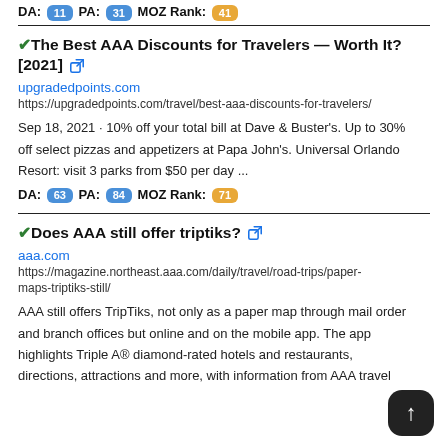DA: 11 PA: 31 MOZ Rank: 41
✔The Best AAA Discounts for Travelers — Worth It? [2021] 🔗
upgradedpoints.com
https://upgradedpoints.com/travel/best-aaa-discounts-for-travelers/
Sep 18, 2021 · 10% off your total bill at Dave & Buster's. Up to 30% off select pizzas and appetizers at Papa John's. Universal Orlando Resort: visit 3 parks from $50 per day ...
DA: 63 PA: 84 MOZ Rank: 71
✔Does AAA still offer triptiks? 🔗
aaa.com
https://magazine.northeast.aaa.com/daily/travel/road-trips/paper-maps-triptiks-still/
AAA still offers TripTiks, not only as a paper map through mail order and branch offices but online and on the mobile app. The app highlights Triple A® diamond-rated hotels and restaurants, directions, attractions and more, with information from AAA travel